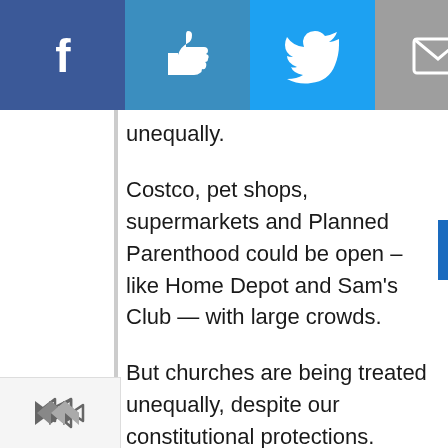[Figure (other): Social share toolbar with Facebook, Like, Twitter, Email, Print, and Crown/subscription buttons]
ve been
ed
unequally.
Costco, pet shops, supermarkets and Planned Parenthood could be open – like Home Depot and Sam's Club — with large crowds.
But churches are being treated unequally, despite our constitutional protections.
2. The First Amendment of the U.S. Constitution protects the right of our churches to operate.